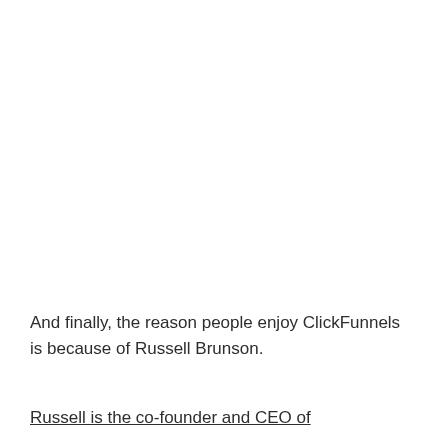And finally, the reason people enjoy ClickFunnels is because of Russell Brunson.
Russell is the co-founder and CEO of